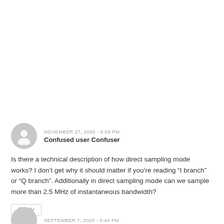NOVEMBER 27, 2020 - 6:59 PM
Confused user Confuser
Is there a technical description of how direct sampling mode works? I don't get why it should matter if you're reading “I branch” or “Q branch”. Additionally in direct sampling mode can we sample more than 2.5 MHz of instantaneous bandwidth?
Reply
SEPTEMBER 7, 2020 - 6:44 PM